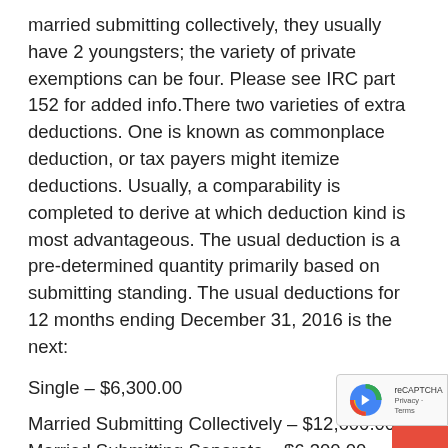married submitting collectively, they usually have 2 youngsters; the variety of private exemptions can be four. Please see IRC part 152 for added info.There two varieties of extra deductions. One is known as commonplace deduction, or tax payers might itemize deductions. Usually, a comparability is completed to derive at which deduction kind is most advantageous. The usual deduction is a pre-determined quantity primarily based on submitting standing. The usual deductions for 12 months ending December 31, 2016 is the next:
Single – $6,300.00
Married Submitting Collectively – $12,600.00 Married Submitting Separate – $6,300.00
Head of Family – $9,300.00
Qualifying Surviving Partner – $12,600.00At this le each private exemptions and both commonplace or